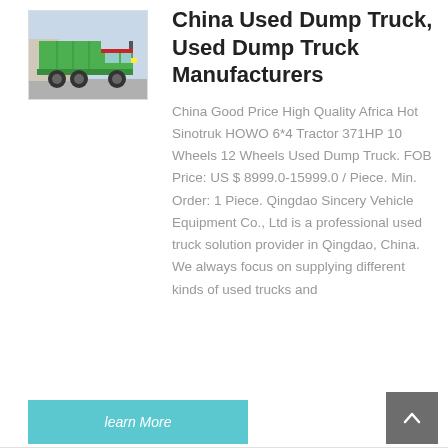[Figure (photo): Green dump truck (Sinotruk HOWO) parked outdoors, viewed from the side-front angle.]
China Used Dump Truck, Used Dump Truck Manufacturers
China Good Price High Quality Africa Hot Sinotruk HOWO 6*4 Tractor 371HP 10 Wheels 12 Wheels Used Dump Truck. FOB Price: US $ 8999.0-15999.0 / Piece. Min. Order: 1 Piece. Qingdao Sincery Vehicle Equipment Co., Ltd is a professional used truck solution provider in Qingdao, China. We always focus on supplying different kinds of used trucks and
learn More